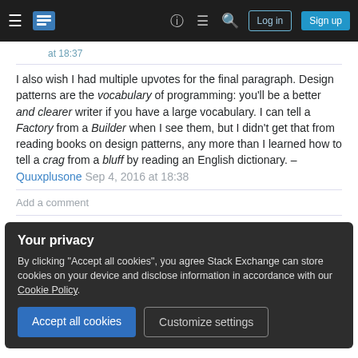Stack Exchange navigation bar with Log in and Sign up buttons
at 18:37
I also wish I had multiple upvotes for the final paragraph. Design patterns are the vocabulary of programming: you'll be a better and clearer writer if you have a large vocabulary. I can tell a Factory from a Builder when I see them, but I didn't get that from reading books on design patterns, any more than I learned how to tell a crag from a bluff by reading an English dictionary. – Quuxplusone Sep 4, 2016 at 18:38
Add a comment
Your privacy
By clicking "Accept all cookies", you agree Stack Exchange can store cookies on your device and disclose information in accordance with our Cookie Policy.
Accept all cookies
Customize settings
this short-term speed doesn't say anything about